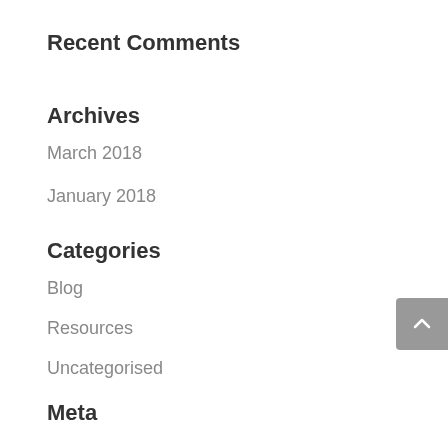Recent Comments
Archives
March 2018
January 2018
Categories
Blog
Resources
Uncategorised
Meta
Log in
Entries feed